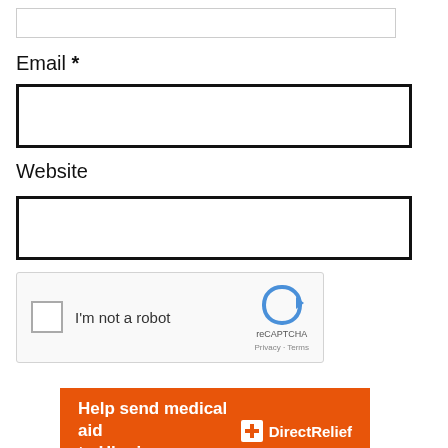[Figure (screenshot): Empty text input field with thin gray border]
Email *
[Figure (screenshot): Empty email input field with thick black border]
Website
[Figure (screenshot): Empty website input field with thick black border]
[Figure (screenshot): reCAPTCHA widget with checkbox and 'I'm not a robot' text, reCAPTCHA logo, Privacy and Terms links]
[Figure (screenshot): Orange banner reading 'Help send medical aid to Ukraine >>' with Direct Relief logo]